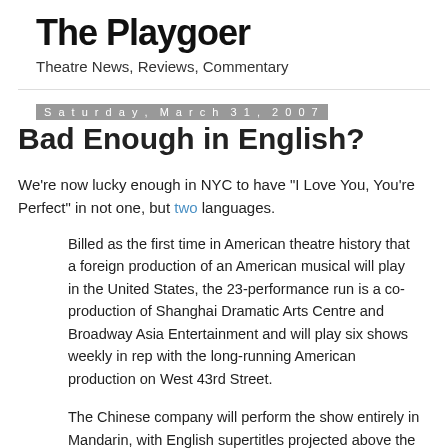The Playgoer
Theatre News, Reviews, Commentary
Saturday, March 31, 2007
Bad Enough in English?
We're now lucky enough in NYC to have "I Love You, You're Perfect" in not one, but two languages.
Billed as the first time in American theatre history that a foreign production of an American musical will play in the United States, the 23-performance run is a co-production of Shanghai Dramatic Arts Centre and Broadway Asia Entertainment and will play six shows weekly in rep with the long-running American production on West 43rd Street.
The Chinese company will perform the show entirely in Mandarin, with English supertitles projected above the stage. Given New York City's large Chinese population, it's safe to say a new...